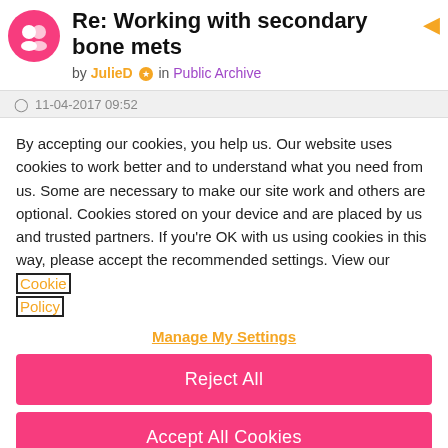Re: Working with secondary bone mets
by JulieD ★ in Public Archive
11-04-2017 09:52
By accepting our cookies, you help us. Our website uses cookies to work better and to understand what you need from us. Some are necessary to make our site work and others are optional. Cookies stored on your device and are placed by us and trusted partners. If you're OK with us using cookies in this way, please accept the recommended settings. View our Cookie Policy
Manage My Settings
Reject All
Accept All Cookies